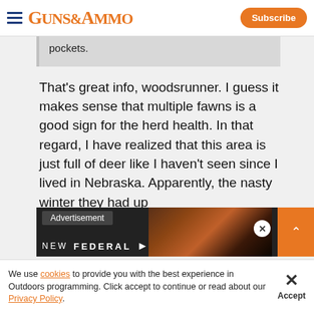GUNS&AMMO | Subscribe
pockets.
That's great info, woodsrunner. I guess it makes sense that multiple fawns is a good sign for the herd health. In that regard, I have realized that this area is just full of deer like I haven't seen since I lived in Nebraska. Apparently, the nasty winter they had up [there] subsequent die-off did...
[Figure (screenshot): Advertisement overlay showing 'Advertisement' label and NEW FEDERAL branding with dark background imagery, close button, and orange expand button.]
We use cookies to provide you with the best experience in Outdoors programming. Click accept to continue or read about our Privacy Policy.